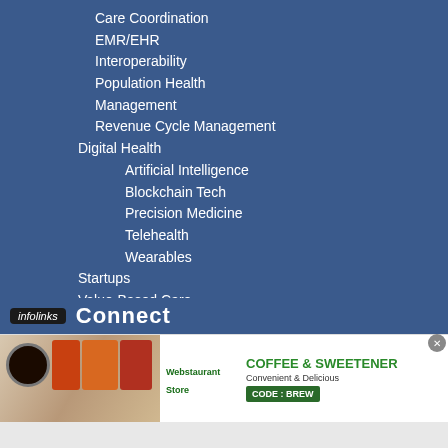Care Coordination
EMR/EHR
Interoperability
Population Health Management
Revenue Cycle Management
Digital Health
Artificial Intelligence
Blockchain Tech
Precision Medicine
Telehealth
Wearables
Startups
Value-Based Care
Accountable Care
Medicare Advantage
infolinks Connect
[Figure (screenshot): WebstaurantStore advertisement for Coffee & Sweetener with CODE: BREW]